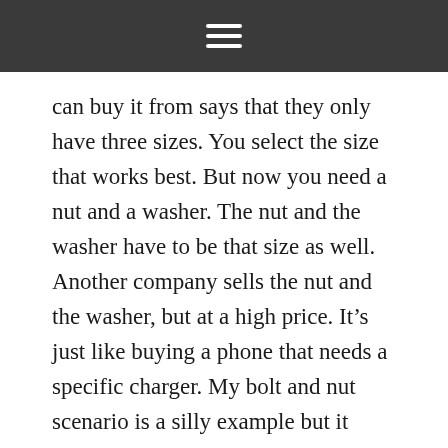[hamburger menu icon]
can buy it from says that they only have three sizes. You select the size that works best. But now you need a nut and a washer. The nut and the washer have to be that size as well. Another company sells the nut and the washer, but at a high price. It’s just like buying a phone that needs a specific charger. My bolt and nut scenario is a silly example but it demonstrates how lucrative the research industry can be. At any rate, errors occur in every day work. But when its remote, and the equipment expensive, it’s always a stressful ride.